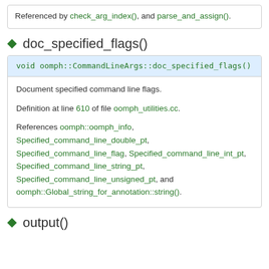Referenced by check_arg_index(), and parse_and_assign().
doc_specified_flags()
void oomph::CommandLineArgs::doc_specified_flags()
Document specified command line flags.
Definition at line 610 of file oomph_utilities.cc.
References oomph::oomph_info, Specified_command_line_double_pt, Specified_command_line_flag, Specified_command_line_int_pt, Specified_command_line_string_pt, Specified_command_line_unsigned_pt, and oomph::Global_string_for_annotation::string().
output()